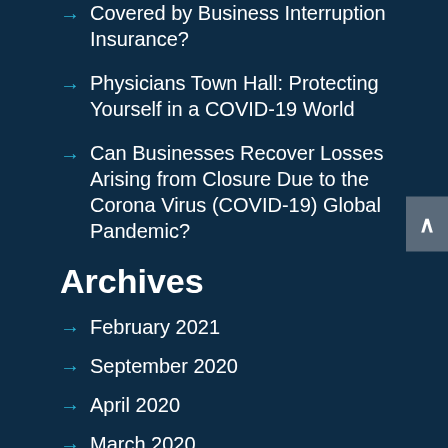Covered by Business Interruption Insurance?
Physicians Town Hall: Protecting Yourself in a COVID-19 World
Can Businesses Recover Losses Arising from Closure Due to the Corona Virus (COVID-19) Global Pandemic?
Archives
February 2021
September 2020
April 2020
March 2020